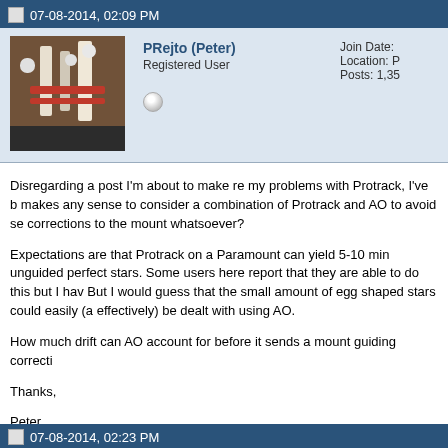07-08-2014, 02:09 PM
PRejto (Peter)
Registered User
Join Date:
Location: P
Posts: 1,35
Disregarding a post I'm about to make re my problems with Protrack, I've be makes any sense to consider a combination of Protrack and AO to avoid se corrections to the mount whatsoever?
Expectations are that Protrack on a Paramount can yield 5-10 min unguided perfect stars. Some users here report that they are able to do this but I have But I would guess that the small amount of egg shaped stars could easily (a effectively) be dealt with using AO.
How much drift can AO account for before it sends a mount guiding correcti
Thanks,

Peter
07-08-2014, 02:23 PM